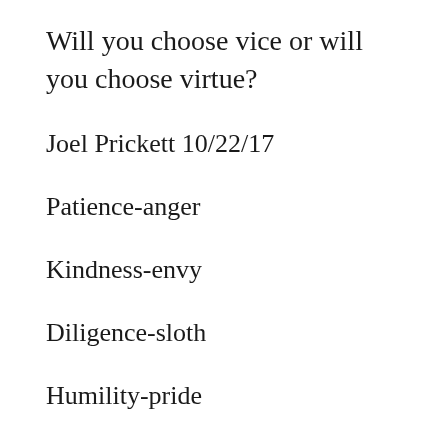Will you choose vice or will you choose virtue?
Joel Prickett 10/22/17
Patience-anger
Kindness-envy
Diligence-sloth
Humility-pride